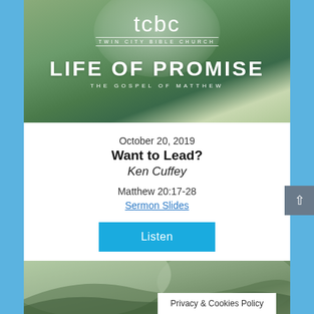[Figure (illustration): TCBC Twin City Bible Church hero banner with green rolling hills landscape and white logo text. Series title 'LIFE OF PROMISE - THE GOSPEL OF MATTHEW' in large white letters.]
October 20, 2019
Want to Lead?
Ken Cuffey
Matthew 20:17-28
Sermon Slides
Listen
[Figure (illustration): Partial view of second TCBC banner with rolling green hills landscape.]
Privacy & Cookies Policy